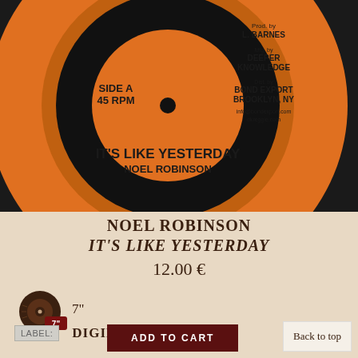[Figure (photo): Orange vinyl 45 RPM record label for 'It's Like Yesterday' by Noel Robinson. Side A, 45 RPM. Produced by L. Barnes. Mfg. by Deeper Knowledge. Dist. by Bond Export Brooklyn, NY. info@bondexport.com dkreggie.com]
NOEL ROBINSON
IT'S LIKE YESTERDAY
12.00 €
[Figure (illustration): 7-inch vinyl record icon with '7"' badge]
7"
LABEL: DIGIKILLER
ADD TO CART
Back to top